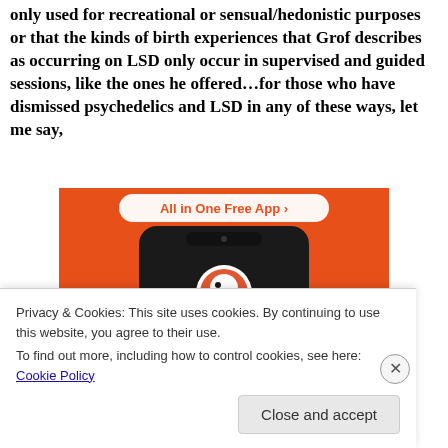only used for recreational or sensual/hedonistic purposes or that the kinds of birth experiences that Grof describes as occurring on LSD only occur in supervised and guided sessions, like the ones he offered...for those who have dismissed psychedelics and LSD in any of these ways, let me say,
[Figure (screenshot): Advertisement showing a smartphone with DuckDuckGo app on an orange background, with text 'All in One Free App' at top]
Privacy & Cookies: This site uses cookies. By continuing to use this website, you agree to their use.
To find out more, including how to control cookies, see here: Cookie Policy